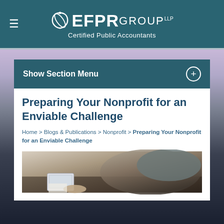EFPR GROUP LLP — Certified Public Accountants
Show Section Menu
Preparing Your Nonprofit for an Enviable Challenge
Home > Blogs & Publications > Nonprofit > Preparing Your Nonprofit for an Enviable Challenge
[Figure (photo): Person using a tablet or digital device, working at a desk, viewed from above at an angle]